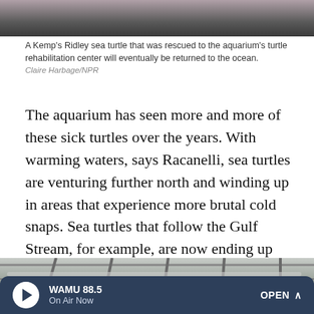[Figure (photo): Top portion of a photo showing a Kemp's Ridley sea turtle at the aquarium's turtle rehabilitation center.]
A Kemp's Ridley sea turtle that was rescued to the aquarium's turtle rehabilitation center will eventually be returned to the ocean.
Claire Harbage/NPR
The aquarium has seen more and more of these sick turtles over the years. With warming waters, says Racanelli, sea turtles are venturing further north and winding up in areas that experience more brutal cold snaps. Sea turtles that follow the Gulf Stream, for example, are now ending up trapped in the hook of Cape Cod, which is where most of the aquarium's recovering turtles come from.
[Figure (photo): Bottom portion of a photo showing the underside of what appears to be aquarium tanks or infrastructure with metal beams and pipes visible.]
WAMU 88.5 On Air Now OPEN ^